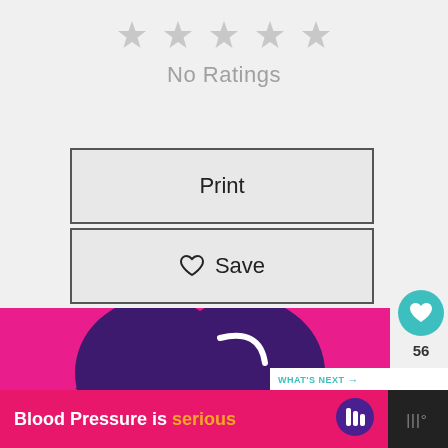[Figure (screenshot): Five empty grey star icons indicating no ratings]
No Ratings
Print
Save
56
[Figure (illustration): Heart image on magenta/pink background with dark purple heart shape]
WHAT'S NEXT →
Corn and Black Bean...
Blood Pressure is serious